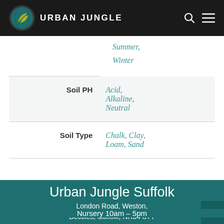Urban Jungle
| Property | Value |
| --- | --- |
|  | Summer, Winter |
| Soil PH | Acid, Alkaline, Neutral |
| Soil Type | Chalk, Clay, Loam, Sand |
Urban Jungle Suffolk
London Road, Weston, Beccles, Suffolk, NR34 8TT
Nursery 10am – 5pm
Cafe 10.30am – 3.30pm